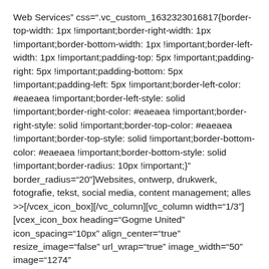onclick_url="https://gogme.nl" onclick_title="Gogme Web Services" css=".vc_custom_1632323016817{border-top-width: 1px !important;border-right-width: 1px !important;border-bottom-width: 1px !important;border-left-width: 1px !important;padding-top: 5px !important;padding-right: 5px !important;padding-bottom: 5px !important;padding-left: 5px !important;border-left-color: #eaeaea !important;border-left-style: solid !important;border-right-color: #eaeaea !important;border-right-style: solid !important;border-top-color: #eaeaea !important;border-top-style: solid !important;border-bottom-color: #eaeaea !important;border-bottom-style: solid !important;border-radius: 10px !important;}" border_radius="20"]Websites, ontwerp, drukwerk, fotografie, tekst, social media, content management; alles >>[/vcex_icon_box][/vc_column][vc_column width="1/3"][vcex_icon_box heading="Gogme United" icon_spacing="10px" align_center="true" resize_image="false" url_wrap="true" onclick="custom_link" onclick_target="_blank" image_width="50" image="1274"